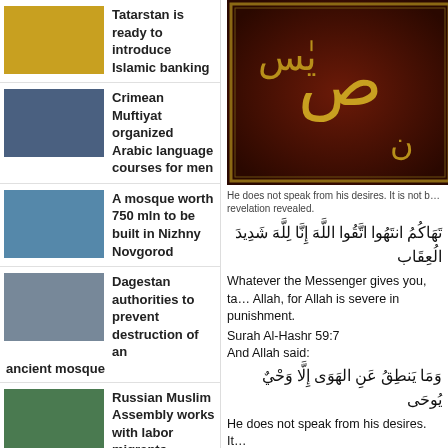Tatarstan is ready to introduce Islamic banking
Crimean Muftiyat organized Arabic language courses for men
A mosque worth 750 mln to be built in Nizhny Novgorod
Dagestan authorities to prevent destruction of an ancient mosque
Russian Muslim Assembly works with labor migrants
A delegation from Iran visited the mufti of St. Petersburg
[Figure (photo): Arabic calligraphy on dark red/maroon background with gold decorative border]
He does not speak from his desires. It is not b… revelation revealed.
[Figure (other): Arabic Quranic verse: تَهَاكُمُ انتَهُوا اتَّقُوا اللَّهَ إِنَّا لِلَّهَ شَدِيدَ الُعِقَاب]
Whatever the Messenger gives you, ta… Allah, for Allah is severe in punishment.
Surah Al-Hashr 59:7
And Allah said:
[Figure (other): Arabic Quranic verse: وَمَا يَنطِقُ عَنِ الهَوَى إِلَّا وَحْيٌ يُوحَى]
He does not speak from his desires. It…
Surah An-Najm 53:3-4
And Allah said:
[Figure (other): Arabic Quranic verse: يُحْبِبْكُمُ اللَّهُ وَيَغْفِرُ لَكُمُ ذُنُوبَكُمُ اللَّهُ غَفُورٌ رَّحِيمٌ]
Say: If you love Allah, then follow me. A… for sinners, and if they…